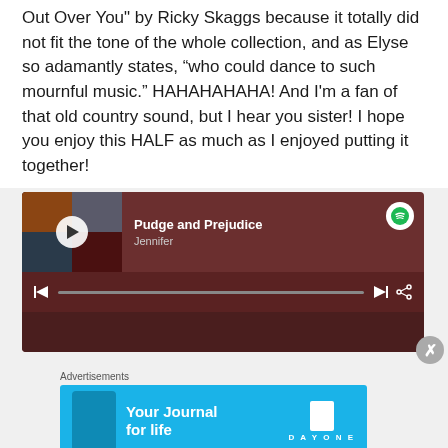Out Over You" by Ricky Skaggs because it totally did not fit the tone of the whole collection, and as Elyse so adamantly states, “who could dance to such mournful music.” HAHAHAHAHA! And I'm a fan of that old country sound, but I hear you sister! I hope you enjoy this HALF as much as I enjoyed putting it together!
[Figure (screenshot): Spotify embedded player showing playlist 'Pudge and Prejudice' by Jennifer with album art collage, play button, progress bar, playback controls, and Spotify logo on dark red background]
[Figure (screenshot): Advertisement banner for Day One app - 'Your Journal for life' on cyan/blue background with phone mockup and bookmark logo]